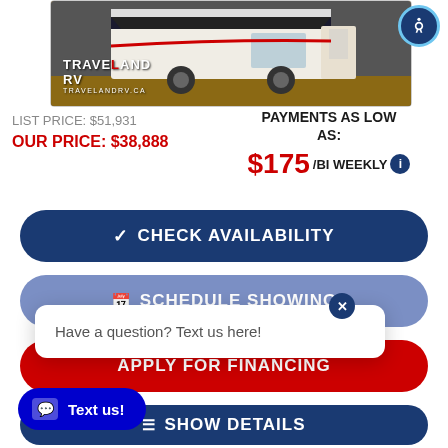[Figure (photo): RV/trailer product photo with Traveland RV logo and TRAVELANDRV.CA watermark]
LIST PRICE: $51,931
OUR PRICE: $38,888
PAYMENTS AS LOW AS:
$175/BI WEEKLY
✓ CHECK AVAILABILITY
📅 SCHEDULE SHOWING
Have a question? Text us here!
APPLY FOR FINANCING
≡ SHOW DETAILS
Text us!